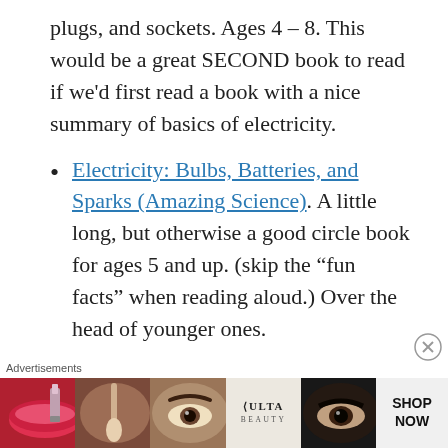plugs, and sockets. Ages 4 – 8. This would be a great SECOND book to read if we'd first read a book with a nice summary of basics of electricity.
Electricity: Bulbs, Batteries, and Sparks (Amazing Science). A little long, but otherwise a good circle book for ages 5 and up. (skip the “fun facts” when reading aloud.) Over the head of younger ones.
Switch On, Switch Off by Berger. Library
Advertisements
[Figure (photo): ULTA beauty advertisement banner showing makeup and beauty close-up images with SHOP NOW call to action]